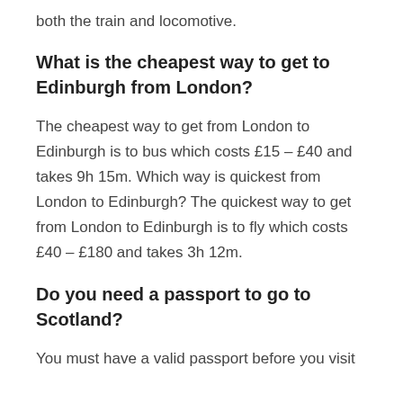both the train and locomotive.
What is the cheapest way to get to Edinburgh from London?
The cheapest way to get from London to Edinburgh is to bus which costs £15 – £40 and takes 9h 15m. Which way is quickest from London to Edinburgh? The quickest way to get from London to Edinburgh is to fly which costs £40 – £180 and takes 3h 12m.
Do you need a passport to go to Scotland?
You must have a valid passport before you visit